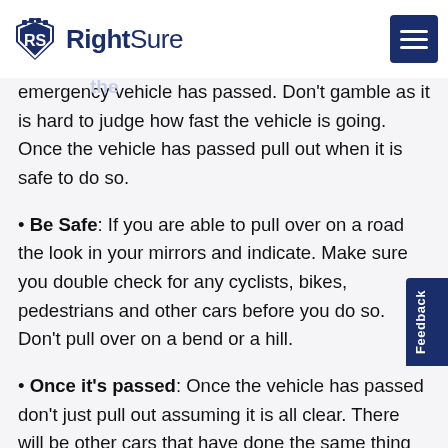RightSure
emergency vehicle has passed. Don’t gamble as it is hard to judge how fast the vehicle is going. Once the vehicle has passed pull out when it is safe to do so.
Be Safe: If you are able to pull over on a road then look in your mirrors and indicate. Make sure you double check for any cyclists, bikes, pedestrians and other cars before you do so. Don’t pull over on a bend or a hill.
Once it’s passed: Once the vehicle has passed don’t just pull out assuming it is all clear. There will be other cars that have done the same thing or